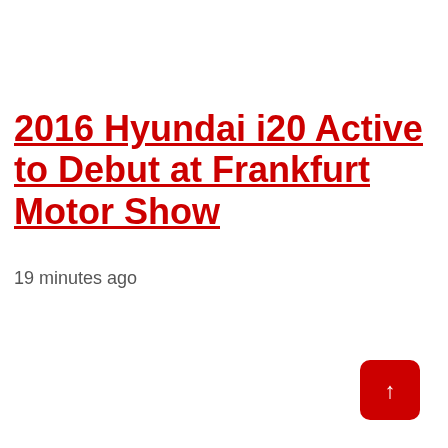2016 Hyundai i20 Active to Debut at Frankfurt Motor Show
19 minutes ago